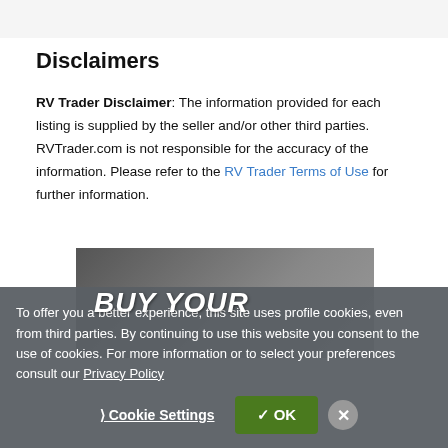Disclaimers
RV Trader Disclaimer: The information provided for each listing is supplied by the seller and/or other third parties. RVTrader.com is not responsible for the accuracy of the information. Please refer to the RV Trader Terms of Use for further information.
[Figure (photo): Advertisement banner showing 'BUY YOUR' text over a dark outdoor/lifestyle background image]
To offer you a better experience, this site uses profile cookies, even from third parties. By continuing to use this website you consent to the use of cookies. For more information or to select your preferences consult our Privacy Policy